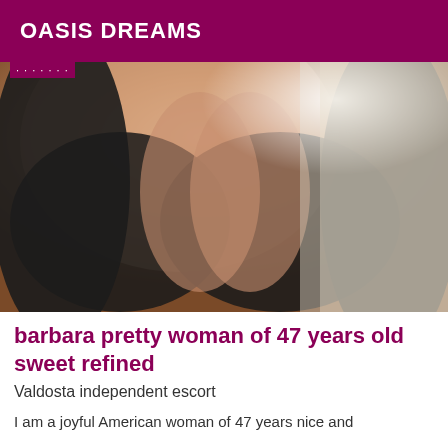OASIS DREAMS
[Figure (photo): Close-up photo of a woman wearing a black lace bra, upper body visible, with a small label partially visible at top left]
barbara pretty woman of 47 years old sweet refined
Valdosta independent escort
I am a joyful American woman of 47 years nice and